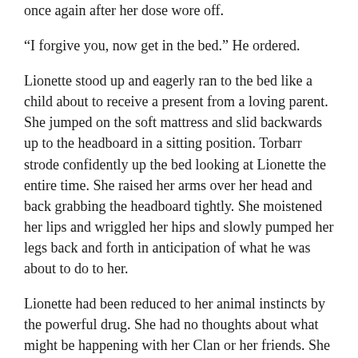once again after her dose wore off.
“I forgive you, now get in the bed.” He ordered.
Lionette stood up and eagerly ran to the bed like a child about to receive a present from a loving parent. She jumped on the soft mattress and slid backwards up to the headboard in a sitting position. Torbarr strode confidently up the bed looking at Lionette the entire time. She raised her arms over her head and back grabbing the headboard tightly. She moistened her lips and wriggled her hips and slowly pumped her legs back and forth in anticipation of what he was about to do to her.
Lionette had been reduced to her animal instincts by the powerful drug. She had no thoughts about what might be happening with her Clan or her friends. She only wanted to feel Torbarr’s body close to hers. It didn’t even have to be him as long as she would be made to feel good and stay that way. It was her new cause for living, the unbridled search for